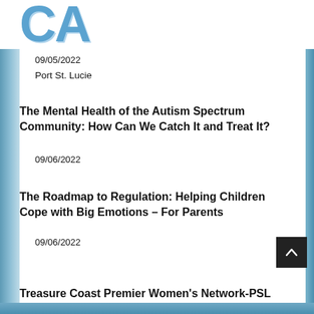[Figure (logo): Large blue bold letters 'CA' (partial logo, top cropped) in a light blue color with shadow effect]
09/05/2022
Port St. Lucie
The Mental Health of the Autism Spectrum Community: How Can We Catch It and Treat It?
09/06/2022
The Roadmap to Regulation: Helping Children Cope with Big Emotions – For Parents
09/06/2022
Treasure Coast Premier Women's Network-PSL